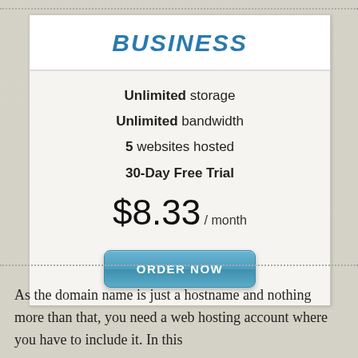BUSINESS
Unlimited storage
Unlimited bandwidth
5 websites hosted
30-Day Free Trial
$8.33 / month
[Figure (other): ORDER NOW button]
As the domain name is just a hostname and nothing more than that, you need a web hosting account where you have to include it. In this